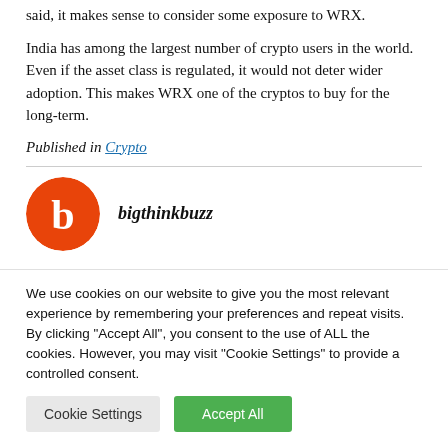said, it makes sense to consider some exposure to WRX.
India has among the largest number of crypto users in the world. Even if the asset class is regulated, it would not deter wider adoption. This makes WRX one of the cryptos to buy for the long-term.
Published in Crypto
[Figure (logo): Circular orange logo with white letter b, partially cropped at bottom]
bigthinkbuzz
We use cookies on our website to give you the most relevant experience by remembering your preferences and repeat visits. By clicking "Accept All", you consent to the use of ALL the cookies. However, you may visit "Cookie Settings" to provide a controlled consent.